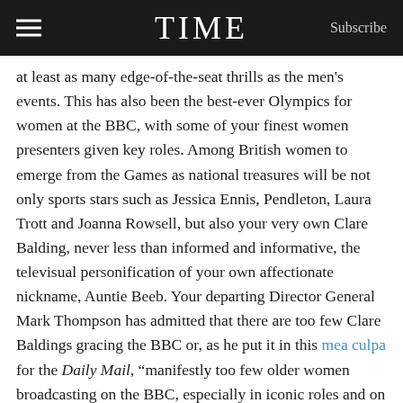TIME  Subscribe
at least as many edge-of-the-seat thrills as the men's events. This has also been the best-ever Olympics for women at the BBC, with some of your finest women presenters given key roles. Among British women to emerge from the Games as national treasures will be not only sports stars such as Jessica Ennis, Pendleton, Laura Trott and Joanna Rowsell, but also your very own Clare Balding, never less than informed and informative, the televisual personification of your own affectionate nickname, Auntie Beeb. Your departing Director General Mark Thompson has admitted that there are too few Clare Baldings gracing the BBC or, as he put it in this mea culpa for the Daily Mail, “manifestly too few older women broadcasting on the BBC, especially in iconic roles and on iconic topical programmes.” His (male) successor could do worse than to start his tenure by signing up Balding and the rest of the London 2012 team for Rio 2016.